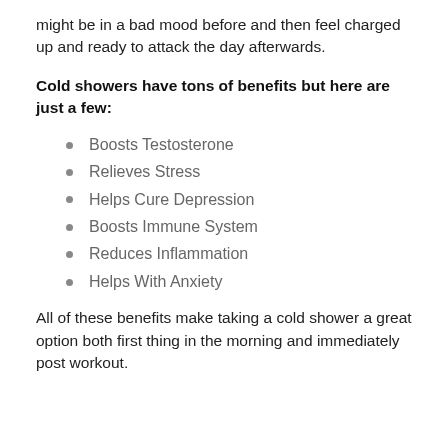might be in a bad mood before and then feel charged up and ready to attack the day afterwards.
Cold showers have tons of benefits but here are just a few:
Boosts Testosterone
Relieves Stress
Helps Cure Depression
Boosts Immune System
Reduces Inflammation
Helps With Anxiety
All of these benefits make taking a cold shower a great option both first thing in the morning and immediately post workout.